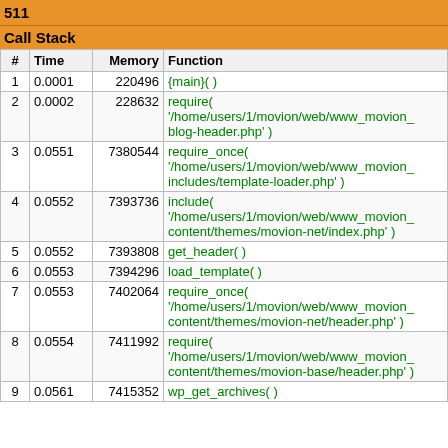511
Call Stack
| # | Time | Memory | Function |
| --- | --- | --- | --- |
| 1 | 0.0001 | 220496 | {main}( ) |
| 2 | 0.0002 | 228632 | require( '/home/users/1/movion/web/www_movion_blog-header.php' ) |
| 3 | 0.0551 | 7380544 | require_once( '/home/users/1/movion/web/www_movion_includes/template-loader.php' ) |
| 4 | 0.0552 | 7393736 | include( '/home/users/1/movion/web/www_movion_content/themes/movion-net/index.php' ) |
| 5 | 0.0552 | 7393808 | get_header( ) |
| 6 | 0.0553 | 7394296 | load_template( ) |
| 7 | 0.0553 | 7402064 | require_once( '/home/users/1/movion/web/www_movion_content/themes/movion-net/header.php' ) |
| 8 | 0.0554 | 7411992 | require( '/home/users/1/movion/web/www_movion_content/themes/movion-base/header.php' ) |
| 9 | 0.0561 | 7415352 | wp_get_archives( ) |